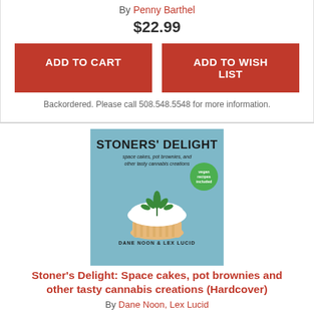By Penny Barthel
$22.99
ADD TO CART
ADD TO WISH LIST
Backordered. Please call 508.548.5548 for more information.
[Figure (photo): Book cover of Stoners' Delight: space cakes, pot brownies, and other tasty cannabis creations by Dane Noon & Lex Lucid. Blue cover with a cupcake topped with a cannabis leaf decoration and a green vegan recipes included badge.]
Stoner's Delight: Space cakes, pot brownies and other tasty cannabis creations (Hardcover)
By Dane Noon, Lex Lucid
$12.99
ADD TO CART
ADD TO WISH LIST